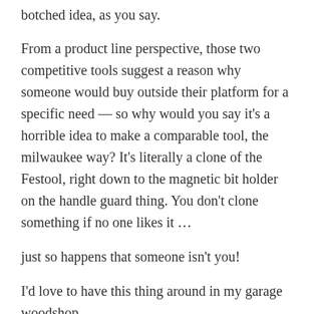botched idea, as you say.
From a product line perspective, those two competitive tools suggest a reason why someone would buy outside their platform for a specific need — so why would you say it's a horrible idea to make a comparable tool, the milwaukee way? It's literally a clone of the Festool, right down to the magnetic bit holder on the handle guard thing. You don't clone something if no one likes it …
just so happens that someone isn't you!
I'd love to have this thing around in my garage woodshop …
REPLY
AndrewW
Jun 20, 2019